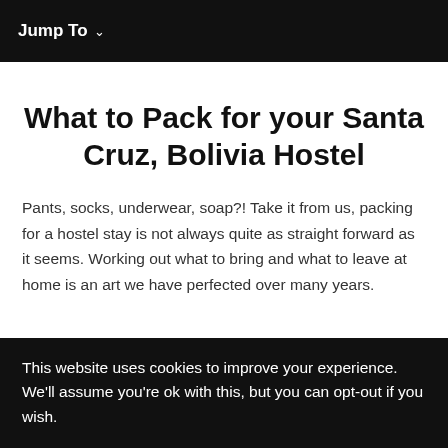Jump To ∨
What to Pack for your Santa Cruz, Bolivia Hostel
Pants, socks, underwear, soap?! Take it from us, packing for a hostel stay is not always quite as straight forward as it seems. Working out what to bring and what to leave at home is an art we have perfected over many years.
This website uses cookies to improve your experience. We'll assume you're ok with this, but you can opt-out if you wish.